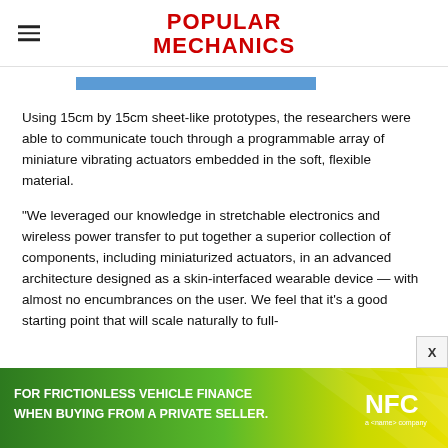POPULAR MECHANICS
[Figure (other): Blue progress/navigation bar element]
Using 15cm by 15cm sheet-like prototypes, the researchers were able to communicate touch through a programmable array of miniature vibrating actuators embedded in the soft, flexible material.
“We leveraged our knowledge in stretchable electronics and wireless power transfer to put together a superior collection of components, including miniaturized actuators, in an advanced architecture designed as a skin-interfaced wearable device — with almost no encumbrances on the user. We feel that it’s a good starting point that will scale naturally to full-
[Figure (other): Advertisement banner: FOR FRICTIONLESS VEHICLE FINANCE WHEN BUYING FROM A PRIVATE SELLER. NFC logo with green and yellow chevron pattern background.]